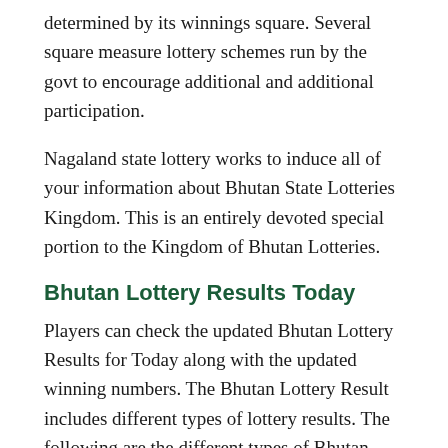determined by its winnings square. Several square measure lottery schemes run by the govt to encourage additional and additional participation.
Nagaland state lottery works to induce all of your information about Bhutan State Lotteries Kingdom. This is an entirely devoted special portion to the Kingdom of Bhutan Lotteries.
Bhutan Lottery Results Today
Players can check the updated Bhutan Lottery Results for Today along with the updated winning numbers. The Bhutan Lottery Result includes different types of lottery results. The following are the different types of Bhutan Lottery Results.
Bhutan Dhanasree Lottery Result